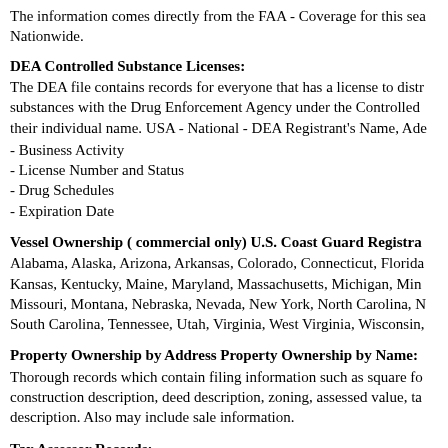The information comes directly from the FAA - Coverage for this sea Nationwide.
DEA Controlled Substance Licenses:
The DEA file contains records for everyone that has a license to distr substances with the Drug Enforcement Agency under the Controlled their individual name. USA - National - DEA Registrant's Name, Ade
- Business Activity
- License Number and Status
- Drug Schedules
- Expiration Date
Vessel Ownership ( commercial only) U.S. Coast Guard Registra
Alabama, Alaska, Arizona, Arkansas, Colorado, Connecticut, Florida Kansas, Kentucky, Maine, Maryland, Massachusetts, Michigan, Min Missouri, Montana, Nebraska, Nevada, New York, North Carolina, N South Carolina, Tennessee, Utah, Virginia, West Virginia, Wisconsin,
Property Ownership by Address Property Ownership by Name:
Thorough records which contain filing information such as square fo construction description, deed description, zoning, assessed value, ta description. Also may include sale information.
Tax Assessor Records:
The Real Property database provides information on County Tax Ass